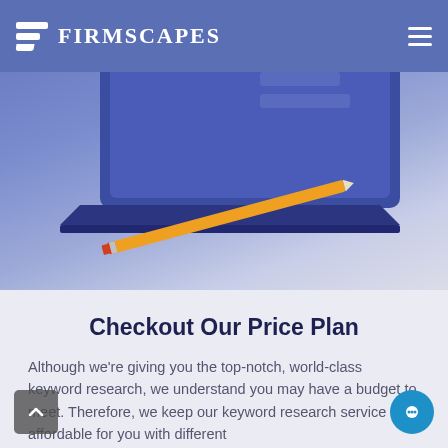FIRMSCAPES
[Figure (illustration): Illustration of a laptop computer with a blue screen and an orange pencil resting diagonally in front of it, on a blue-purple gradient background.]
Checkout Our Price Plan
Although we're giving you the top-notch, world-class keyword research, we understand you may have a budget to meet. Therefore, we keep our keyword research service affordable for you with different